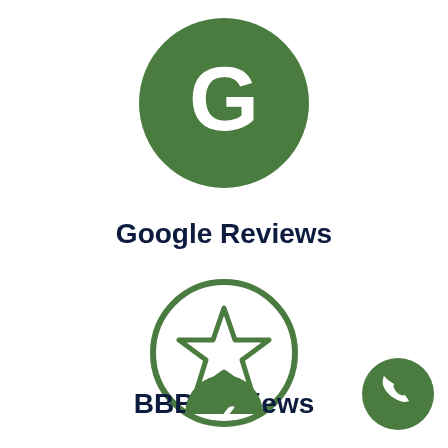[Figure (logo): Green filled circle with white letter G (Google icon)]
Google Reviews
[Figure (logo): Green outlined circle with green outlined star inside (BBB Reviews icon)]
BBB Reviews
[Figure (logo): Green circle with white phone handset icon (phone button)]
[Figure (logo): Green filled circle partially visible at bottom center (third review platform icon)]